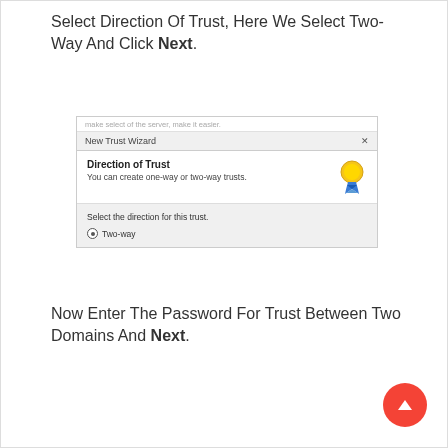Select Direction Of Trust, Here We Select Two-Way And Click Next.
[Figure (screenshot): Windows New Trust Wizard dialog showing Direction of Trust step with 'Two-way' radio button selected]
Now Enter The Password For Trust Between Two Domains And Next.